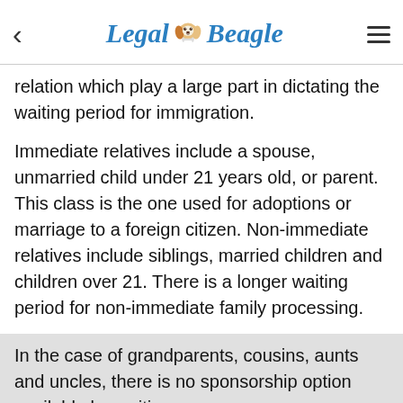Legal Beagle
relation which play a large part in dictating the waiting period for immigration.
Immediate relatives include a spouse, unmarried child under 21 years old, or parent. This class is the one used for adoptions or marriage to a foreign citizen. Non-immediate relatives include siblings, married children and children over 21. There is a longer waiting period for non-immediate family processing.
In the case of grandparents, cousins, aunts and uncles, there is no sponsorship option available by a citizen.
In all cases, the sponsor must prove viable income,